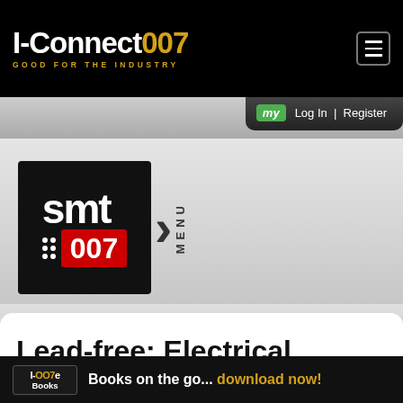I-Connect007 — GOOD FOR THE INDUSTRY
[Figure (logo): SMT007 publication logo with black background, white SMT text, red 007 box, and MENU label]
Lead-free: Electrical Influence on Tin Whisker Growth
I-OOZe Books — Books on the go... download now!